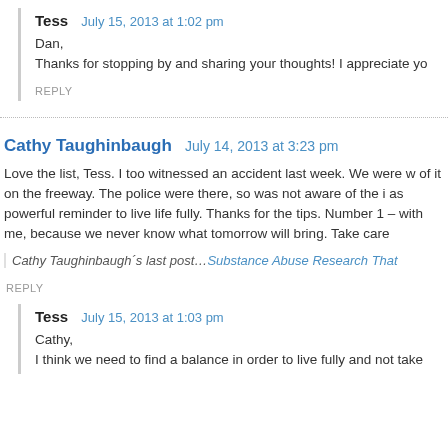Tess   July 15, 2013 at 1:02 pm
Dan,
Thanks for stopping by and sharing your thoughts! I appreciate yo
REPLY
Cathy Taughinbaugh   July 14, 2013 at 3:23 pm
Love the list, Tess. I too witnessed an accident last week. We were w of it on the freeway. The police were there, so was not aware of the i as powerful reminder to live life fully. Thanks for the tips. Number 1 – with me, because we never know what tomorrow will bring. Take care
Cathy Taughinbaugh´s last post…Substance Abuse Research That
REPLY
Tess   July 15, 2013 at 1:03 pm
Cathy,
I think we need to find a balance in order to live fully and not take